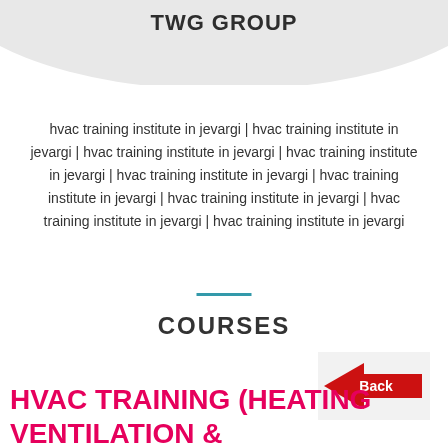TWG GROUP
hvac training institute in jevargi | hvac training institute in jevargi | hvac training institute in jevargi | hvac training institute in jevargi | hvac training institute in jevargi | hvac training institute in jevargi | hvac training institute in jevargi | hvac training institute in jevargi | hvac training institute in jevargi
COURSES
[Figure (illustration): Back button arrow graphic in red pointing left with text 'Back']
HVAC TRAINING (HEATING VENTILATION &